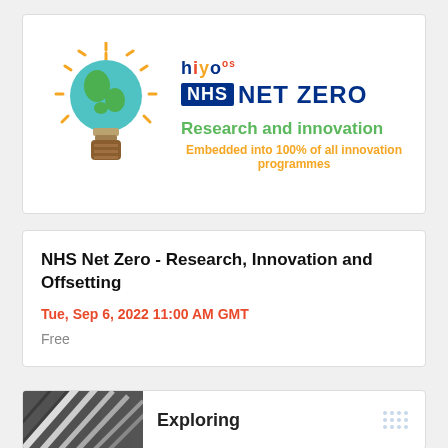[Figure (logo): HiYos NHS Net Zero Research and Innovation logo with green lightbulb earth icon and yellow rays]
NHS Net Zero - Research, Innovation and Offsetting
Tue, Sep 6, 2022 11:00 AM GMT
Free
[Figure (photo): Abstract black and white diagonal lines photo thumbnail]
Exploring